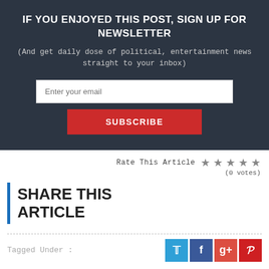IF YOU ENJOYED THIS POST, SIGN UP FOR NEWSLETTER
(And get daily dose of political, entertainment news straight to your inbox)
Enter your email
SUBSCRIBE
Rate This Article (0 votes)
SHARE THIS ARTICLE
Tagged Under :
OZONE LAYER
OZONE DAY 2021
MONTREAL PROTOCOL